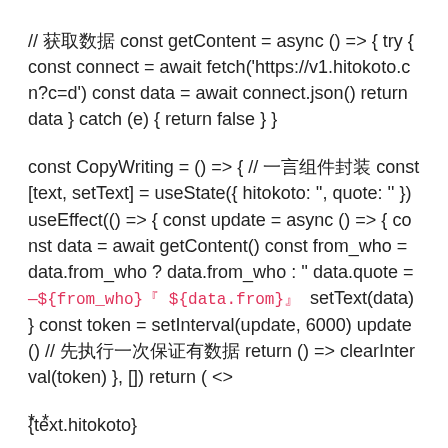// 获取数据 const getContent = async () => { try { const connect = await fetch('https://v1.hitokoto.cn?c=d') const data = await connect.json() return data } catch (e) { return false } }
const CopyWriting = () => { // 一言组件封装 const [text, setText] = useState({ hitokoto: '', quote: '' }) useEffect(() => { const update = async () => { const data = await getContent() const from_who = data.from_who ? data.from_who : '' data.quote = —${from_who}「${data.from}」 setText(data) } const token = setInterval(update, 6000) update() // 先执行一次保证有数据 return () => clearInterval(token) }, []) return ( <>
{text.hitokoto}
{text.quote}
* *